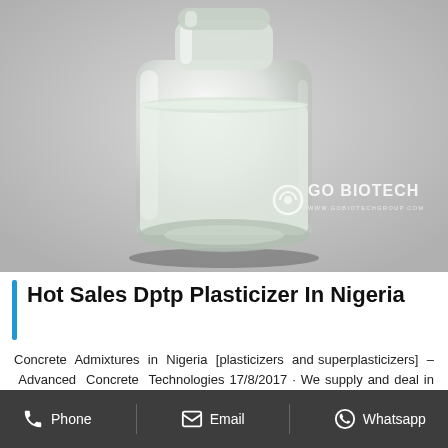[Figure (photo): A clear glass jar/bottle containing a transparent liquid (plasticizer), photographed on a gray background. A watermark reads 'GO BIOTECH' with a logo in the lower right corner.]
Hot Sales Dptp Plasticizer In Nigeria
Concrete Admixtures in Nigeria [plasticizers and superplasticizers] – Advanced Concrete Technologies 17/8/2017 · We supply and deal in concrete admixtures as well as concrete additives in Nigeria. Our products are good for…
Phone   Email   Whatsapp